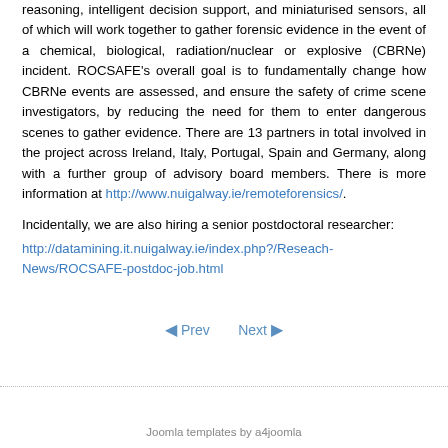reasoning, intelligent decision support, and miniaturised sensors, all of which will work together to gather forensic evidence in the event of a chemical, biological, radiation/nuclear or explosive (CBRNe) incident. ROCSAFE's overall goal is to fundamentally change how CBRNe events are assessed, and ensure the safety of crime scene investigators, by reducing the need for them to enter dangerous scenes to gather evidence. There are 13 partners in total involved in the project across Ireland, Italy, Portugal, Spain and Germany, along with a further group of advisory board members. There is more information at http://www.nuigalway.ie/remoteforensics/.
Incidentally, we are also hiring a senior postdoctoral researcher: http://datamining.it.nuigalway.ie/index.php?/Reseach-News/ROCSAFE-postdoc-job.html
◄ Prev   Next ►
Joomla templates by a4joomla